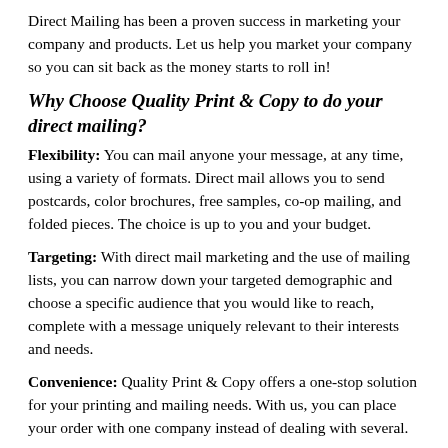Direct Mailing has been a proven success in marketing your company and products. Let us help you market your company so you can sit back as the money starts to roll in!
Why Choose Quality Print & Copy to do your direct mailing?
Flexibility: You can mail anyone your message, at any time, using a variety of formats. Direct mail allows you to send postcards, color brochures, free samples, co-op mailing, and folded pieces. The choice is up to you and your budget.
Targeting: With direct mail marketing and the use of mailing lists, you can narrow down your targeted demographic and choose a specific audience that you would like to reach, complete with a message uniquely relevant to their interests and needs.
Convenience: Quality Print & Copy offers a one-stop solution for your printing and mailing needs. With us, you can place your order with one company instead of dealing with several.
Privacy: With direct mail, not only can you reach your customers without your competition's knowledge, you can also allow your customers to see your message without distraction.
Fast Turnaround Time: Your printed products can be